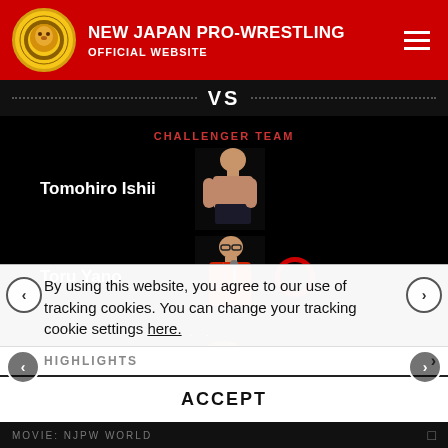NEW JAPAN PRO-WRESTLING OFFICIAL WEBSITE
VS
CHALLENGER TEAM
Tomohiro Ishii
Toru Yano
Match time: 12m24s
SCHOOLBOY
[Figure (screenshot): Three thumbnail images of wrestling match highlights in a carousel strip]
By using this website, you agree to our use of tracking cookies. You can change your tracking cookie settings here.
HIGHLIGHTS
ACCEPT
MOVIE: NJPW WORLD